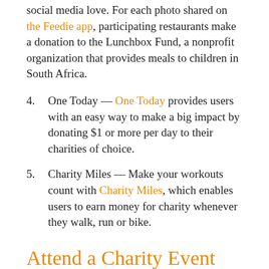social media love. For each photo shared on the Feedie app, participating restaurants make a donation to the Lunchbox Fund, a nonprofit organization that provides meals to children in South Africa.
4. One Today — One Today provides users with an easy way to make a big impact by donating $1 or more per day to their charities of choice.
5. Charity Miles — Make your workouts count with Charity Miles, which enables users to earn money for charity whenever they walk, run or bike.
Attend a Charity Event
Fundraising events are a great way to both give back and get the chance to network. Check out the event page on your favorite nonprofit's website to see when